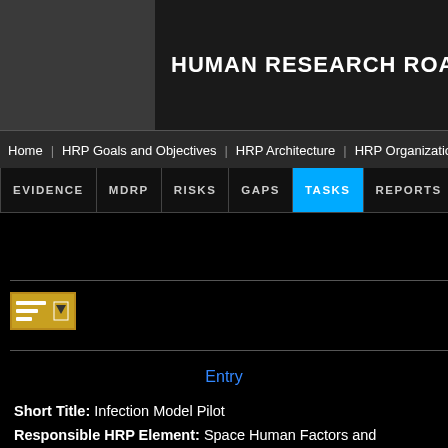HUMAN RESEARCH ROA...
Home | HRP Goals and Objectives | HRP Architecture | HRP Organizational S...
EVIDENCE | MDRP | RISKS | GAPS | TASKS | REPORTS
[Figure (screenshot): Filter/sort icon with yellow background and funnel lines with dropdown arrow]
Entry
Short Title: Infection Model Pilot
Responsible HRP Element: Space Human Factors and...
Collaboration On(s)...